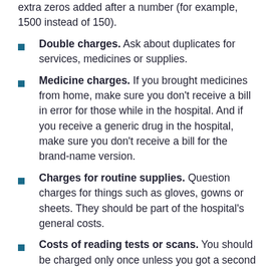extra zeros added after a number (for example, 1500 instead of 150).
Double charges. Ask about duplicates for services, medicines or supplies.
Medicine charges. If you brought medicines from home, make sure you don't receive a bill in error for those while in the hospital. And if you receive a generic drug in the hospital, make sure you don't receive a bill for the brand-name version.
Charges for routine supplies. Question charges for things such as gloves, gowns or sheets. They should be part of the hospital's general costs.
Costs of reading tests or scans. You should be charged only once unless you got a second opinion.